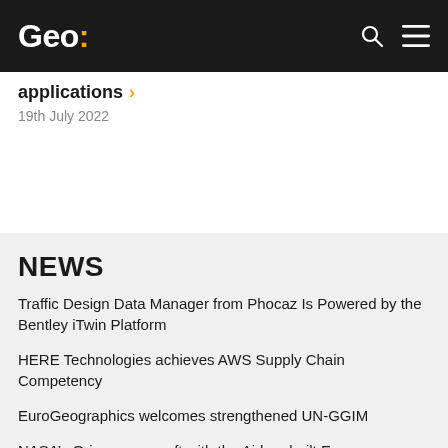Geo:
applications >
19th July 2022
NEWS
Traffic Design Data Manager from Phocaz Is Powered by the Bentley iTwin Platform
HERE Technologies achieves AWS Supply Chain Competency
EuroGeographics welcomes strengthened UN-GGIM
NASA's Orion spacecraft with the Airbus-built European Service Module is ready for launch